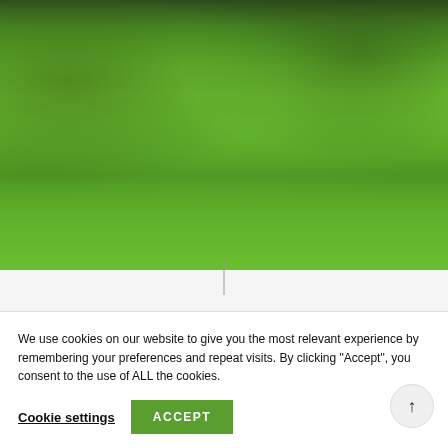[Figure (photo): Close-up oil painting of a green landscape/meadow in spring, with thick textured brushstrokes in various shades of green, trees visible at the top, bright spring light]
LANDSCHAFTEN
Frühling im Garten
We use cookies on our website to give you the most relevant experience by remembering your preferences and repeat visits. By clicking "Accept", you consent to the use of ALL the cookies.
Cookie settings  ACCEPT